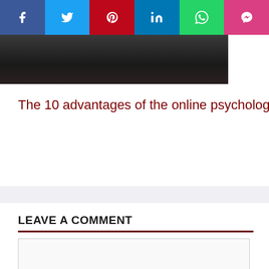[Figure (other): Social media share bar with icons: Facebook (blue), Twitter (light blue), Pinterest (red), LinkedIn (blue), WhatsApp (green), Messenger (pink)]
[Figure (photo): Dark cropped image, appears to show a person in dark tones, partially visible at top of page]
The 10 advantages of the online psychologist
LEAVE A COMMENT